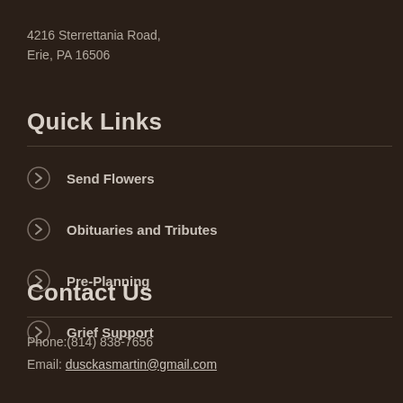4216 Sterrettania Road,
Erie, PA 16506
Quick Links
Send Flowers
Obituaries and Tributes
Pre-Planning
Grief Support
Contact Us
Phone:(814) 838-7656
Email: dusckasmartin@gmail.com